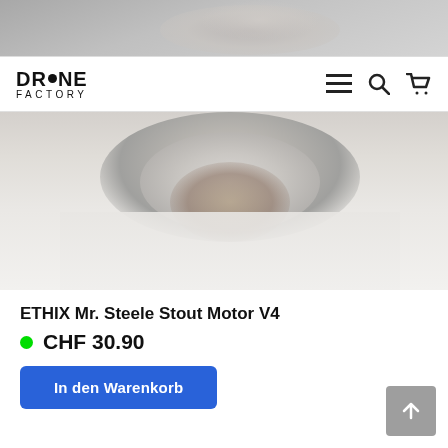[Figure (photo): Close-up photo of ETHIX Mr. Steele Stout Motor V4 drone motor, white/silver color, blurred background]
DRONE FACTORY — navigation bar with menu, search, and cart icons
ETHIX Mr. Steele Stout Motor V4
CHF 30.90
In den Warenkorb